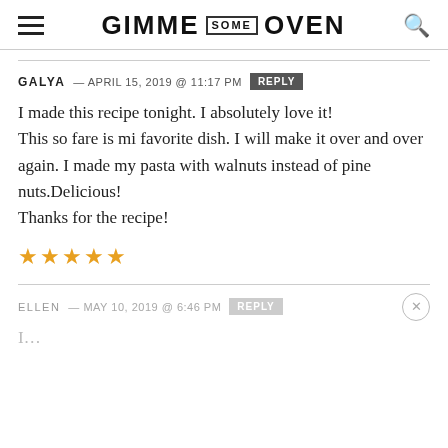GIMME SOME OVEN
GALYA — APRIL 15, 2019 @ 11:17 PM  REPLY
I made this recipe tonight. I absolutely love it! This so fare is mi favorite dish. I will make it over and over again. I made my pasta with walnuts instead of pine nuts.Delicious!
Thanks for the recipe!
★★★★★
ELLEN — MAY 10, 2019 @ 6:46 PM  REPLY